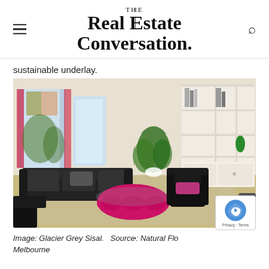THE Real Estate Conversation.
sustainable underlay.
[Figure (photo): Interior living room with sisal carpet, black leather sofa, pink ottoman coffee table, wingback chair, large white bookshelf, and plant near stained glass windows.]
Image: Glacier Grey Sisal.  Source: Natural Flo... Melbourne